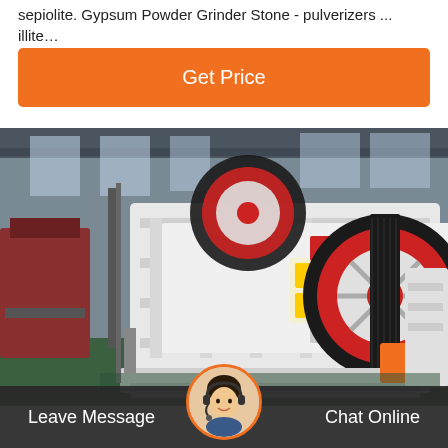sepiolite. Gypsum Powder Grinder Stone - pulverizers ... illite…
Get Price
[Figure (photo): Industrial jaw crusher machine photographed in a factory setting. The machine is white with a large red and black flywheel on the right side. It sits on a concrete floor in a large warehouse facility.]
Leave Message
Chat Online